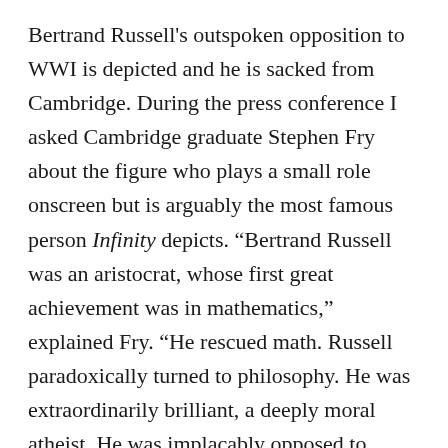Bertrand Russell's outspoken opposition to WWI is depicted and he is sacked from Cambridge. During the press conference I asked Cambridge graduate Stephen Fry about the figure who plays a small role onscreen but is arguably the most famous person Infinity depicts. “Bertrand Russell was an aristocrat, whose first great achievement was in mathematics,” explained Fry. “He rescued math. Russell paradoxically turned to philosophy. He was extraordinarily brilliant, a deeply moral atheist. He was implacably opposed to World War I and said something very theological to critics” who took him to task for questioning that their ‘“sons lay their lives down for their country in sacrifice.’